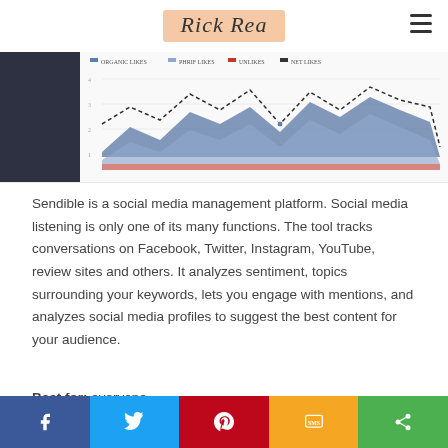Rick Rea
[Figure (area-chart): Area chart showing social media metrics over time with multiple colored series (blue/purple areas) and a dashed white line, on a dark left panel and white chart background. Legend shows: ORGANIC LIKES, PHRIF LIKES, UNLIKES, NET LIKES.]
Sendible is a social media management platform. Social media listening is only one of its many functions. The tool tracks conversations on Facebook, Twitter, Instagram, YouTube, review sites and others. It analyzes sentiment, topics surrounding your keywords, lets you engage with mentions, and analyzes social media profiles to suggest the best content for your audience.
Best for: everyone